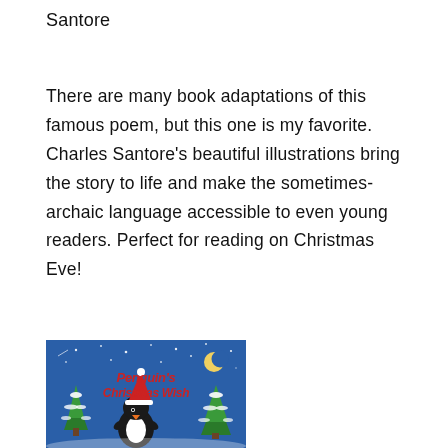Santore
There are many book adaptations of this famous poem, but this one is my favorite. Charles Santore's beautiful illustrations bring the story to life and make the sometimes-archaic language accessible to even young readers. Perfect for reading on Christmas Eve!
[Figure (photo): Book cover of 'Penguin's Christmas Wish' showing a penguin wearing a Santa hat, snow-covered Christmas trees, a crescent moon, and stars on a blue background with red stylized text reading 'Penguin's Christmas Wish']